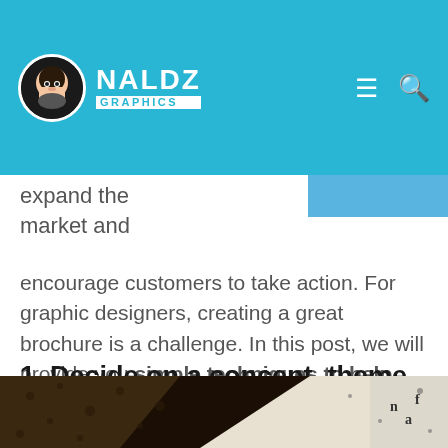NALDZ GRAPHICS
expand the market and encourage customers to take action. For graphic designers, creating a great brochure is a challenge. In this post, we will provide you simple techniques to help you create a great brochure design.
1. Decide on a concept, theme and structure.
[Figure (photo): Bottom portion of a brochure design image showing dark patterned background on left and light textured paper on right]